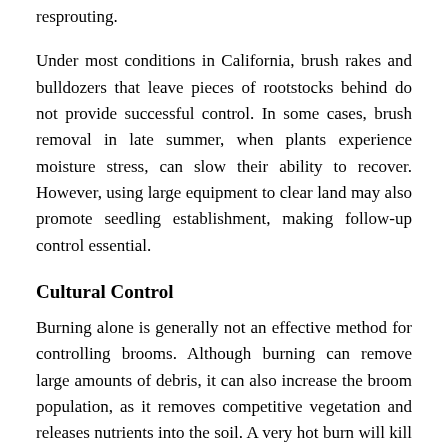resprouting.
Under most conditions in California, brush rakes and bulldozers that leave pieces of rootstocks behind do not provide successful control. In some cases, brush removal in late summer, when plants experience moisture stress, can slow their ability to recover. However, using large equipment to clear land may also promote seedling establishment, making follow-up control essential.
Cultural Control
Burning alone is generally not an effective method for controlling brooms. Although burning can remove large amounts of debris, it can also increase the broom population, as it removes competitive vegetation and releases nutrients into the soil. A very hot burn will kill seeds, but a cooler burn will stimulate the germination of broom seeds left in the soil.